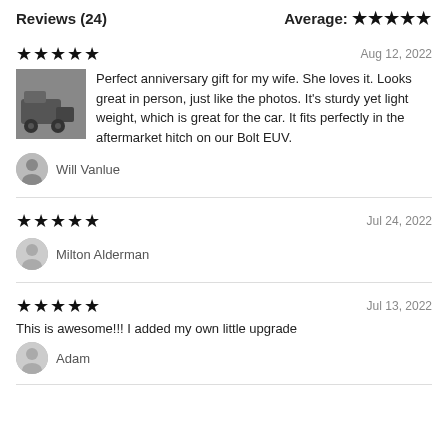Reviews (24)
Average: ★★★★★
★★★★★   Aug 12, 2022
Perfect anniversary gift for my wife. She loves it. Looks great in person, just like the photos. It's sturdy yet light weight, which is great for the car. It fits perfectly in the aftermarket hitch on our Bolt EUV.
Will Vanlue
★★★★★   Jul 24, 2022
Milton Alderman
★★★★★   Jul 13, 2022
This is awesome!!! I added my own little upgrade
Adam